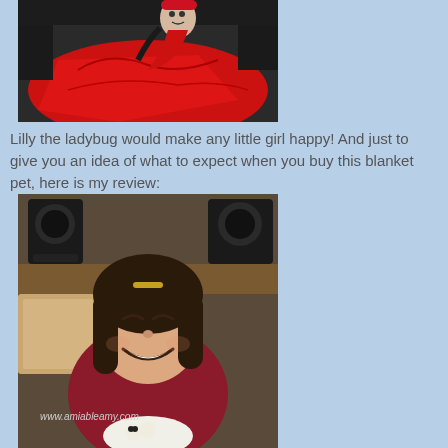[Figure (photo): Photo of a ladybug blanket pet (Lilly) with red fabric draped over a dark sofa, showing a stuffed animal head]
Lilly the ladybug would make any little girl happy! And just to give you an idea of what to expect when you buy this blanket pet, here is my review:
[Figure (photo): Photo of a smiling young girl in a dark red/maroon school uniform holding a ladybug blanket pet stuffed animal, with speakers visible in background. Watermark: www.amiableamy.com]